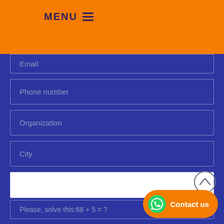MENU ≡
Email
Phone number
Organization
City
Please, solve this:68 + 5 = ?
Contact us